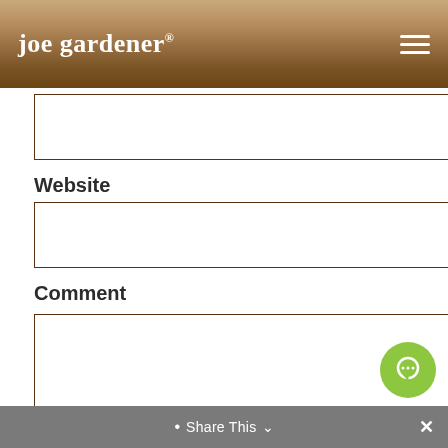joe gardener®
(input field — partially visible at top)
Website
(website input field)
Comment
(comment textarea)
SUBMIT COMMENT
• Share This ∨  ×